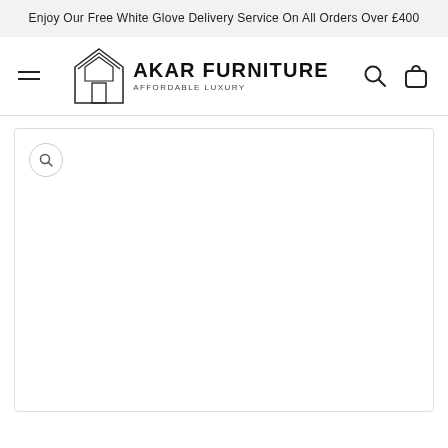Enjoy Our Free White Glove Delivery Service On All Orders Over £400
[Figure (logo): Akar Furniture logo with house icon, brand name AKAR FURNITURE and tagline AFFORDABLE LUXURY]
[Figure (photo): Product image area with zoom button, appears blank/white (image not loaded)]